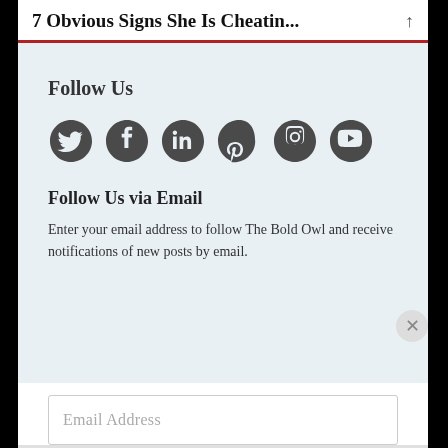7 Obvious Signs She Is Cheatin...
Follow Us
[Figure (infographic): Social media icons row: Twitter, Facebook, LinkedIn, Pinterest, Instagram, YouTube — all in dark grey]
Follow Us via Email
Enter your email address to follow The Bold Owl and receive notifications of new posts by email.
Email Address
Advertisements
[Figure (infographic): DuckDuckGo advertisement banner: orange left panel with text 'Search, browse, and email with more privacy. All in One Free App', dark right panel with DuckDuckGo duck logo and brand name]